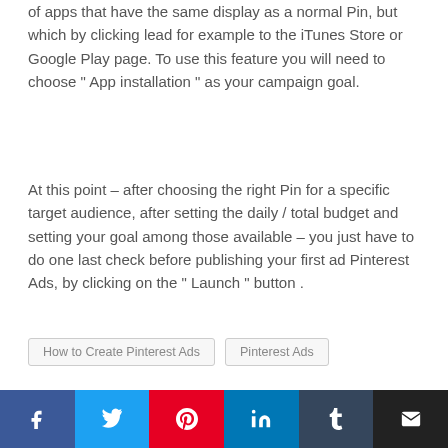of apps that have the same display as a normal Pin, but which by clicking lead for example to the iTunes Store or Google Play page. To use this feature you will need to choose " App installation " as your campaign goal.
At this point – after choosing the right Pin for a specific target audience, after setting the daily / total budget and setting your goal among those available – you just have to do one last check before publishing your first ad Pinterest Ads, by clicking on the " Launch " button .
How to Create Pinterest Ads   Pinterest Ads